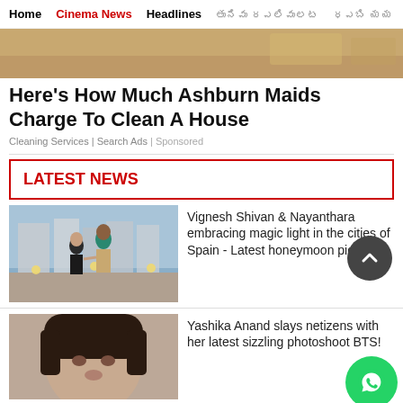Home | Cinema News | Headlines | [Tamil text] | [Tamil text]
[Figure (photo): Partial image of a room interior with warm tones visible at top]
Here's How Much Ashburn Maids Charge To Clean A House
Cleaning Services | Search Ads | Sponsored
LATEST NEWS
[Figure (photo): Couple dancing/embracing outdoors in a city with buildings in background, woman in black, man in teal shirt]
Vignesh Shivan & Nayanthara embracing magic light in the cities of Spain - Latest honeymoon pics
[Figure (photo): Woman with dark hair looking at camera, partial photo]
Yashika Anand slays netizens with her latest sizzling photoshoot BTS!